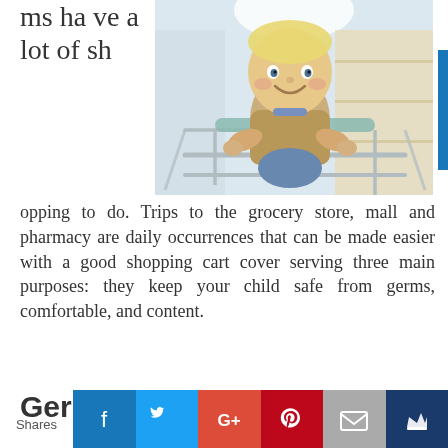ms ha ve a lot of sh opping to do. Trips to the grocery store, mall and pharmacy are daily occurrences that can be made easier with a good shopping cart cover serving three main purposes: they keep your child safe from germs, comfortable, and content.
[Figure (photo): A smiling toddler sitting in a grocery store shopping cart, reaching forward, with store shelves in the background.]
Germs
Shares | Facebook | Twitter | Google+ | Pinterest | Email | Crown